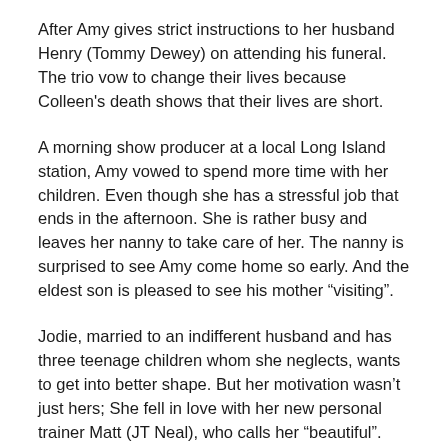After Amy gives strict instructions to her husband Henry (Tommy Dewey) on attending his funeral. The trio vow to change their lives because Colleen's death shows that their lives are short.
A morning show producer at a local Long Island station, Amy vowed to spend more time with her children. Even though she has a stressful job that ends in the afternoon. She is rather busy and leaves her nanny to take care of her. The nanny is surprised to see Amy come home so early. And the eldest son is pleased to see his mother “visiting”.
Jodie, married to an indifferent husband and has three teenage children whom she neglects, wants to get into better shape. But her motivation wasn’t just hers; She fell in love with her new personal trainer Matt (JT Neal), who calls her “beautiful”.